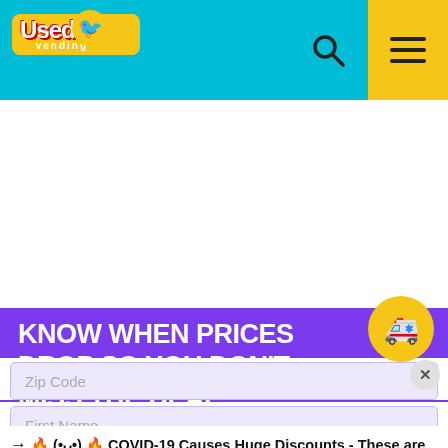[Figure (logo): UsedVending.com logo with yellow background and teal header bar, search icon, and hamburger menu on yellow background]
[Figure (infographic): Purple banner reading KNOW WHEN PRICES DROP SO YOU DON'T MISS THE DEAL with ambulance emoji icon]
→ 🔥 (•ᴗ•) 🔥 COVID-19 Causes Huge Discounts - These are going fast! 🔥 🦅•🌺•?🔥
Zip Code
First Name